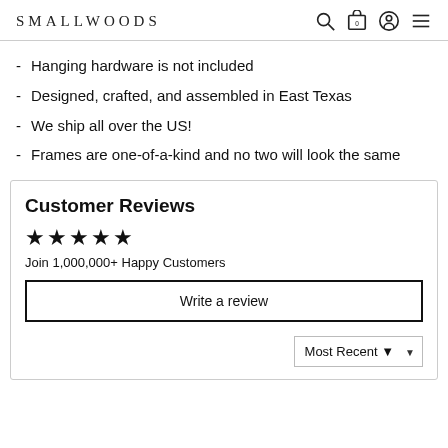SMALLWOODS
Hanging hardware is not included
Designed, crafted, and assembled in East Texas
We ship all over the US!
Frames are one-of-a-kind and no two will look the same
Customer Reviews
★★★★★ Join 1,000,000+ Happy Customers
Write a review
Most Recent